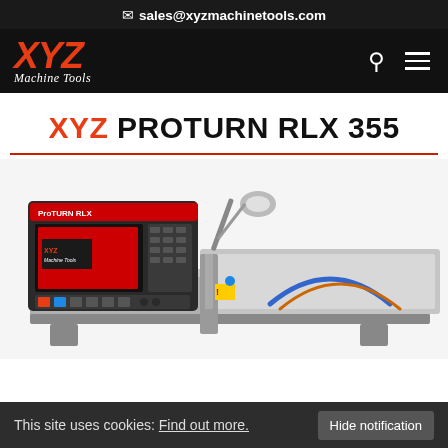✉ sales@xyzmachinetools.com
[Figure (logo): XYZ Machine Tools logo in red and white on black navigation bar with search and hamburger menu icons]
XYZ PROTURN RLX 355
[Figure (photo): XYZ ProTurn RLX 355 lathe machine with red and black control panel on the left, lamp arm, and grey machine bed extending to the right]
This site uses cookies: Find out more.   Hide notification